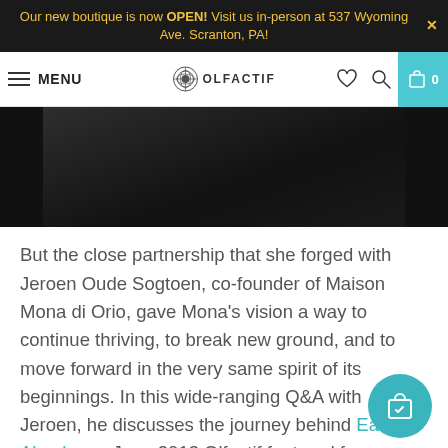Our new boutique is now OPEN! Visit us in-person at 537 Wyoming Ave. Scranton, PA!
MENU | OLFACTIF | 0
[Figure (photo): Dark/black background hero image showing dark fabric or texture]
But the close partnership that she forged with Jeroen Oude Sogtoen, co-founder of Maison Mona di Orio, gave Mona's vision a way to continue thriving, to break new ground, and to move forward in the very same spirit of its beginnings. In this wide-ranging Q&A with Jeroen, he discusses the journey behind Eau Absolue, a June 2013 Olfactif featured fragrance. But first, he shares the fate of all that...